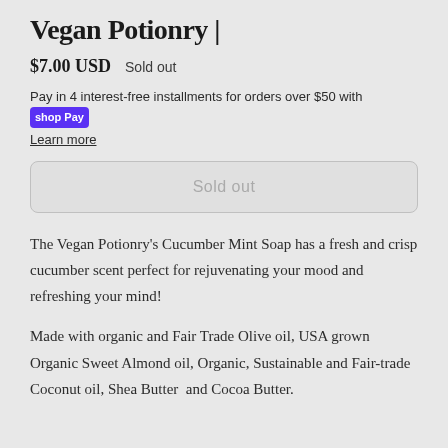Vegan Potionry |
$7.00 USD   Sold out
Pay in 4 interest-free installments for orders over $50 with shop Pay
Learn more
Sold out
The Vegan Potionry's Cucumber Mint Soap has a fresh and crisp cucumber scent perfect for rejuvenating your mood and refreshing your mind!
Made with organic and Fair Trade Olive oil, USA grown Organic Sweet Almond oil, Organic, Sustainable and Fair-trade Coconut oil, Shea Butter  and Cocoa Butter.